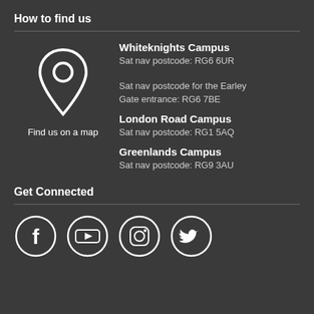How to find us
[Figure (illustration): Map pin / location marker icon in white outline style]
Find us on a map
Whiteknights Campus
Sat nav postcode: RG6 6UR

Sat nav postcode for the Earley Gate entrance: RG6 7BE
London Road Campus
Sat nav postcode: RG1 5AQ
Greenlands Campus
Sat nav postcode: RG9 3AU
Get Connected
[Figure (illustration): Social media icons: Facebook, YouTube, Instagram, Twitter — white icons in white circle outlines]